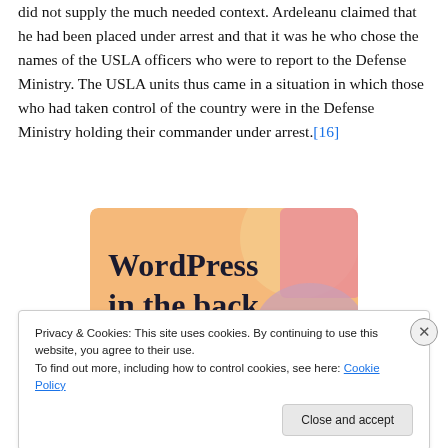did not supply the much needed context. Ardeleanu claimed that he had been placed under arrest and that it was he who chose the names of the USLA officers who were to report to the Defense Ministry. The USLA units thus came in a situation in which those who had taken control of the country were in the Defense Ministry holding their commander under arrest.[16]
[Figure (illustration): WordPress advertisement banner with colorful background (orange, pink, purple) showing text 'WordPress in the back.']
Privacy & Cookies: This site uses cookies. By continuing to use this website, you agree to their use.
To find out more, including how to control cookies, see here: Cookie Policy